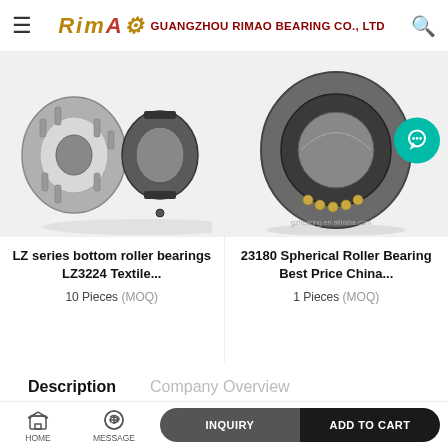GUANGZHOU RIMAO BEARING CO., LTD
[Figure (photo): LZ series bottom roller bearings product photo showing two metal bearings]
LZ series bottom roller bearings LZ3224 Textile...
10 Pieces (MOQ)
[Figure (photo): 23180 Spherical Roller Bearing product photo with customer service chat button overlay]
23180 Spherical Roller Bearing Best Price China...
1 Pieces (MOQ)
Description
Company Overview
HOME  MESSAGE  INQUIRY  ADD TO CART